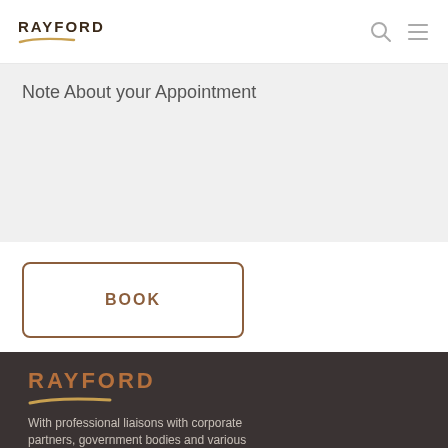RAYFORD
Note About your Appointment
BOOK
[Figure (logo): RAYFORD logo with brown text and gold swoosh underline, on dark brown footer background]
With professional liaisons with corporate partners, government bodies and various